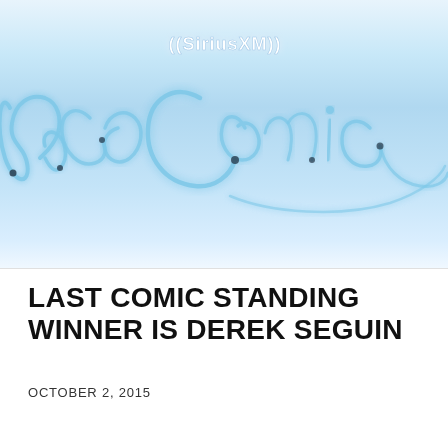[Figure (photo): SiriusXM branded image with neon-style cursive text reading 'Last Comic' on a light blue glowing background, with the SiriusXM logo at the top]
LAST COMIC STANDING WINNER IS DEREK SEGUIN
OCTOBER 2, 2015